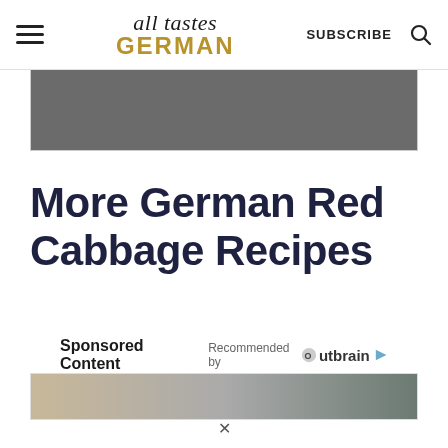all tastes GERMAN — SUBSCRIBE
[Figure (other): Gray advertisement placeholder banner]
More German Red Cabbage Recipes
Sponsored Content   Recommended by Outbrain
[Figure (photo): Partial image visible at bottom of page, appears to be a food photo with muted tones]